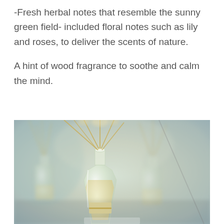-Fresh herbal notes that resemble the sunny green field- included floral notes such as lily and roses, to deliver the scents of nature.
A hint of wood fragrance to soothe and calm the mind.
[Figure (photo): Reed diffuser bottles with straw/reed sticks in glass bottles containing pale yellow liquid, photographed in soft focus with a blurred background of blue-grey and green tones.]